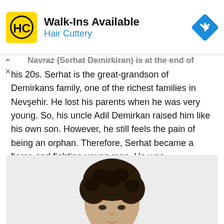[Figure (infographic): Advertisement banner for Hair Cuttery. Yellow square logo with 'HC' text, ad title 'Walk-Ins Available', subtitle 'Hair Cuttery' in blue, and a blue diamond navigation icon on the right.]
Navraz (Serhat Demirkiran) is at the end of his 20s. Serhat is the great-grandson of Demirkans family, one of the richest families in Nevşehir. He lost his parents when he was very young. So, his uncle Adil Demirkan raised him like his own son. However, he still feels the pain of being an orphan. Therefore, Serhat became a fierce and fighting young man. He was hardworking, determined and brave.
[Figure (photo): A young man with curly dark hair, partially visible from the shoulders up, looking forward. The photo is cropped showing mainly the face and top of head.]